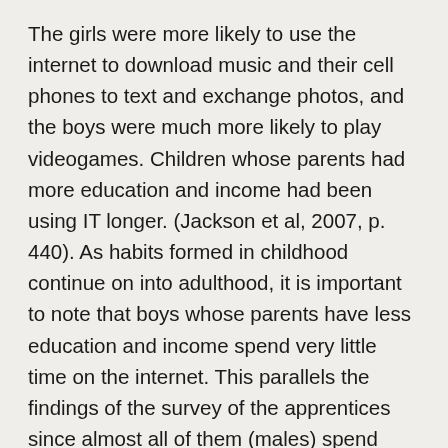The girls were more likely to use the internet to download music and their cell phones to text and exchange photos, and the boys were much more likely to play videogames. Children whose parents had more education and income had been using IT longer. (Jackson et al, 2007, p. 440). As habits formed in childhood continue on into adulthood, it is important to note that boys whose parents have less education and income spend very little time on the internet. This parallels the findings of the survey of the apprentices since almost all of them (males) spend much of their screen time playing games, on the TV at home, and, on their smartphones on the road. And many of them come from families that favour manual labour over post-secondary education.

	There has been a significant increase in the percentage of smartphones over that of regular cell